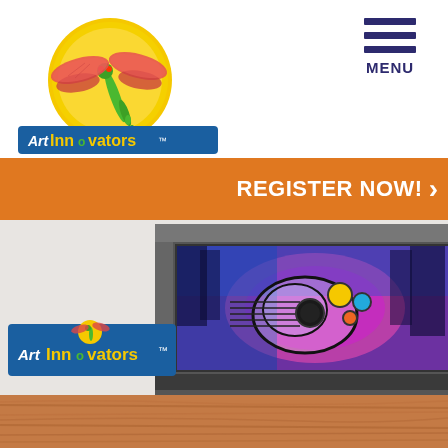[Figure (logo): Art Innovators dragonfly logo with sun — colorful dragonfly on yellow/orange sun circle, with Art Innovators text logo below in blue/green banner]
MENU
REGISTER NOW!
[Figure (photo): Framed colorful artwork showing a guitar or similar instrument in purple/blue/magenta tones with black outlines, displayed on a white wall above a wood-grain floor]